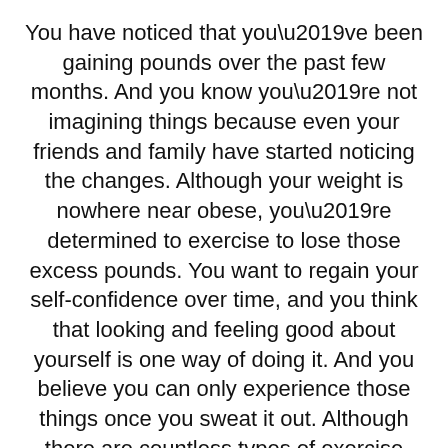You have noticed that you’ve been gaining pounds over the past few months. And you know you’re not imagining things because even your friends and family have started noticing the changes. Although your weight is nowhere near obese, you’re determined to exercise to lose those excess pounds. You want to regain your self-confidence over time, and you think that looking and feeling good about yourself is one way of doing it. And you believe you can only experience those things once you sweat it out. Although there are countless types of exercise equipment available today, you still don’t know what to use to achieve your goal. If you don’t know where to start with your weight loss journey, using a bike might be the solution to your problems.
Bikes have been used by a lot of people to lose weight and to stay fit. Bikes can be very useful, especially if you’re particularly determined to rid yourself of the fat